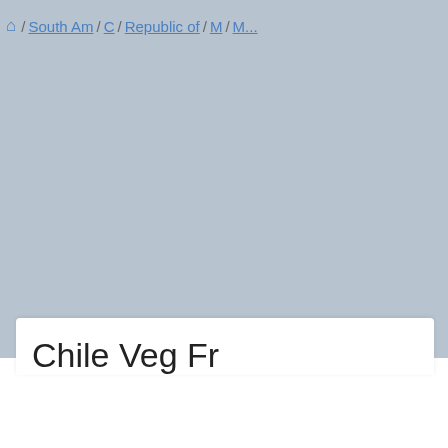🏠 / South Am / C / Republic of / M / M...
[Figure (map): A bluish-grey map area showing a geographic region, partially rendered, associated with Chile/South America navigation.]
Chile Veg Fr